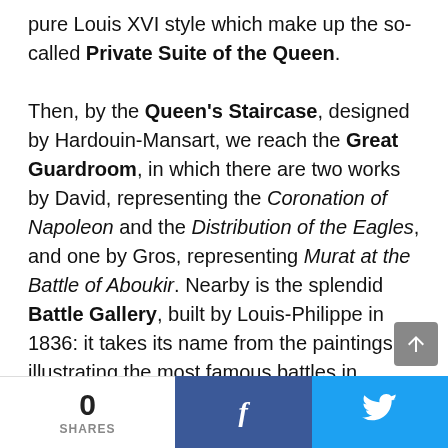pure Louis XVI style which make up the so-called Private Suite of the Queen. Then, by the Queen's Staircase, designed by Hardouin-Mansart, we reach the Great Guardroom, in which there are two works by David, representing the Coronation of Napoleon and the Distribution of the Eagles, and one by Gros, representing Murat at the Battle of Aboukir. Nearby is the splendid Battle Gallery, built by Louis-Philippe in 1836: it takes its name from the paintings illustrating the most famous battles in France's history, among them the Battle of Taillebourg, painted by Delacroix. Again by way of the Queen's Stairway, we go on to the rooms on the
0 SHARES  f  [twitter]